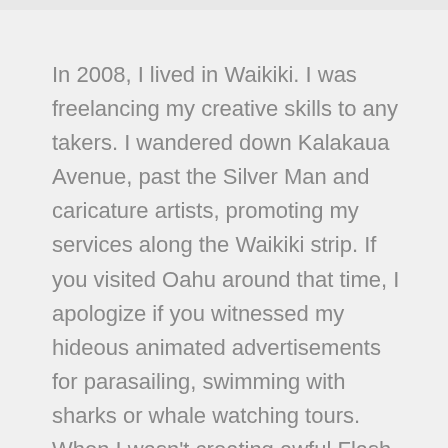In 2008, I lived in Waikiki. I was freelancing my creative skills to any takers. I wandered down Kalakaua Avenue, past the Silver Man and caricature artists, promoting my services along the Waikiki strip. If you visited Oahu around that time, I apologize if you witnessed my hideous animated advertisements for parasailing, swimming with sharks or whale watching tours. When I wasn't creating awful Flash ads, I was designing logos and websites. It was a matter of survival, but I was always working on something bigger.